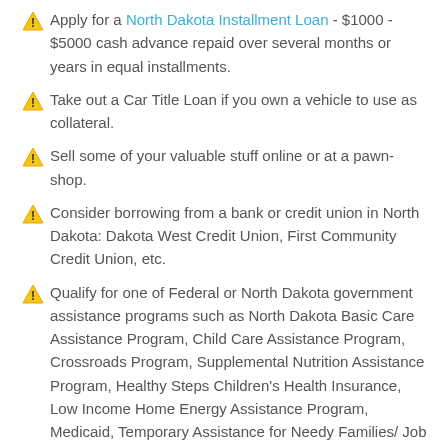Apply for a North Dakota Installment Loan - $1000 - $5000 cash advance repaid over several months or years in equal installments.
Take out a Car Title Loan if you own a vehicle to use as collateral.
Sell some of your valuable stuff online or at a pawn-shop.
Consider borrowing from a bank or credit union in North Dakota: Dakota West Credit Union, First Community Credit Union, etc.
Qualify for one of Federal or North Dakota government assistance programs such as North Dakota Basic Care Assistance Program, Child Care Assistance Program, Crossroads Program, Supplemental Nutrition Assistance Program, Healthy Steps Children's Health Insurance, Low Income Home Energy Assistance Program, Medicaid, Temporary Assistance for Needy Families/ Job